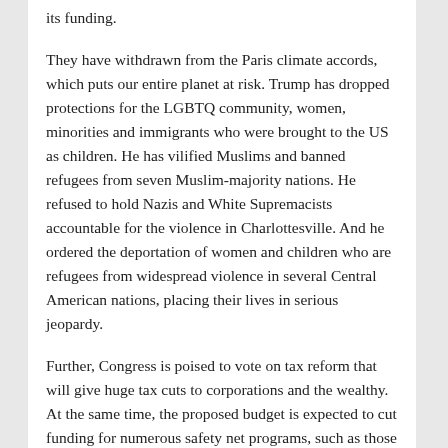its funding.
They have withdrawn from the Paris climate accords, which puts our entire planet at risk. Trump has dropped protections for the LGBTQ community, women, minorities and immigrants who were brought to the US as children. He has vilified Muslims and banned refugees from seven Muslim-majority nations. He refused to hold Nazis and White Supremacists accountable for the violence in Charlottesville. And he ordered the deportation of women and children who are refugees from widespread violence in several Central American nations, placing their lives in serious jeopardy.
Further, Congress is poised to vote on tax reform that will give huge tax cuts to corporations and the wealthy. At the same time, the proposed budget is expected to cut funding for numerous safety net programs, such as those designed to provide food for poor children, the elderly and the disabled.
Considering the impact of all these actions, one has to